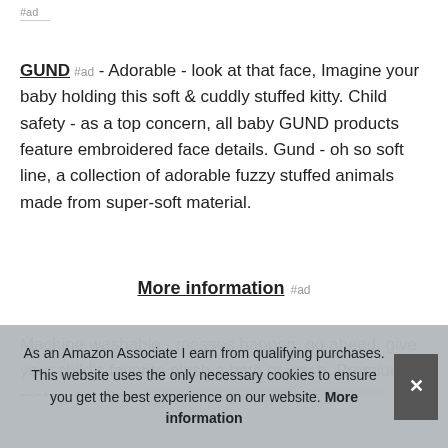#ad
GUND #ad - Adorable - look at that face, Imagine your baby holding this soft & cuddly stuffed kitty. Child safety - as a top concern, all baby GUND products feature embroidered face details. Gund - oh so soft line, a collection of adorable fuzzy stuffed animals made from super-soft material.
More information #ad
Machine washable - messes happen, go ahead, give your child's favorite plush a bath or wash. Premium materials - Sma... bab...
As an Amazon Associate I earn from qualifying purchases. This website uses the only necessary cookies to ensure you get the best experience on our website. More information